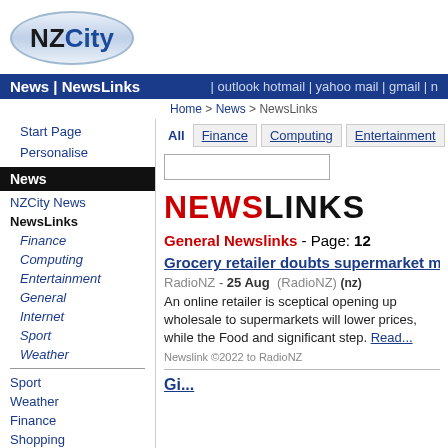[Figure (logo): NZCity logo with oval blue gradient background, NZ in black bold, City in dark blue bold]
News | NewsLinks | outlook hotmail | yahoo mail | gmail | n
Home > News > NewsLinks
Start Page  Personalise
News
NZCity News
NewsLinks
Finance
Computing
Entertainment
General
Internet
Sport
Weather
Sport
Weather
Finance
Shopping
Jobs
Horoscopes
NEWSLINKS
General Newslinks - Page: 12
Grocery retailer doubts supermarket move w...
RadioNZ - 25 Aug (RadioNZ) (nz) An online retailer is sceptical opening up wholesale to supermarkets will lower prices, while the Food and... significant step. Read... Newslink ©2022 to RadioNZ